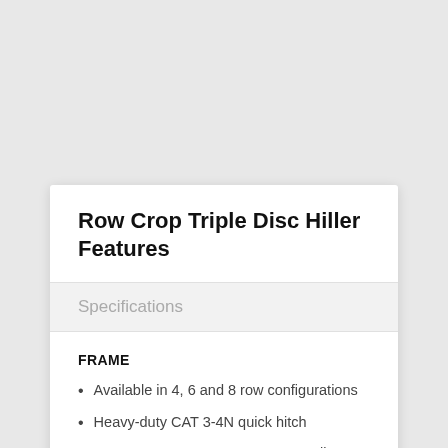Row Crop Triple Disc Hiller Features
Specifications
FRAME
Available in 4, 6 and 8 row configurations
Heavy-duty CAT 3-4N quick hitch
Two 178mm x 178mm x 9.5mm toolbars